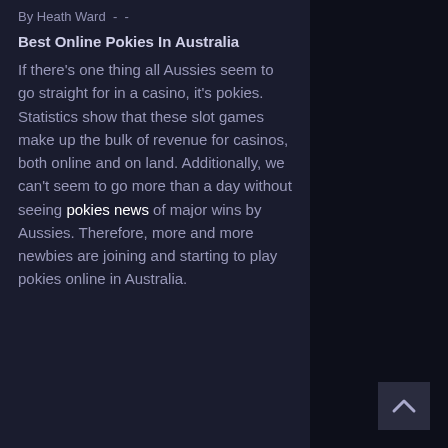By Heath Ward - -
Best Online Pokies In Australia
If there's one thing all Aussies seem to go straight for in a casino, it's pokies. Statistics show that these slot games make up the bulk of revenue for casinos, both online and on land. Additionally, we can't seem to go more than a day without seeing pokies news of major wins by Aussies. Therefore, more and more newbies are joining and starting to play pokies online in Australia.